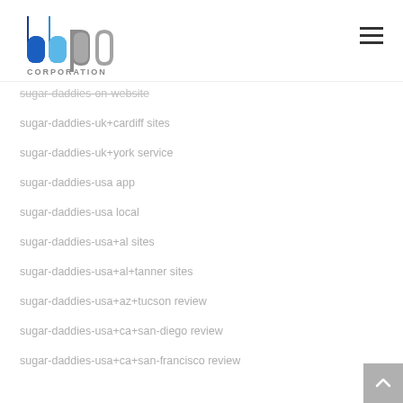[Figure (logo): BBP Corporation logo with stylized 'bbp' letters in blue and gray, with 'CORPORATION' text below]
sugar-daddies-on-website
sugar-daddies-uk+cardiff sites
sugar-daddies-uk+york service
sugar-daddies-usa app
sugar-daddies-usa local
sugar-daddies-usa+al sites
sugar-daddies-usa+al+tanner sites
sugar-daddies-usa+az+tucson review
sugar-daddies-usa+ca+san-diego review
sugar-daddies-usa+ca+san-francisco review